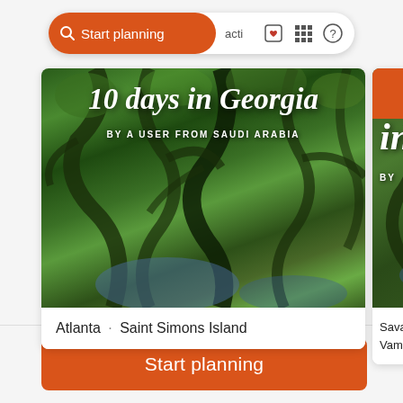Start planning · activities
[Figure (screenshot): Card showing '10 days in Georgia' travel itinerary with tree canopy nature photo background, subtitle 'BY A USER FROM SAUDI ARABIA', and footer text 'Atlanta · Saint Simons Island']
[Figure (screenshot): Partially visible second card showing 'in' text with orange bar at top, 'BY' text, and footer text 'Savannah · Vampire To...' — cropped at right edge]
Atlanta · Saint Simons Island
Savannah · Vampire To
Start planning